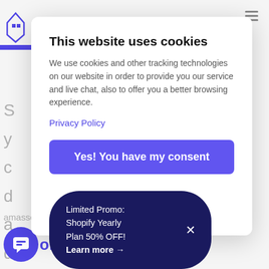This website uses cookies
We use cookies and other tracking technologies on our website in order to provide you our service and live chat, also to offer you a better browsing experience.
Privacy Policy
Yes! You have my consent
Limited Promo:
Shopify Yearly Plan 50% OFF!
Learn more →
Gorgias